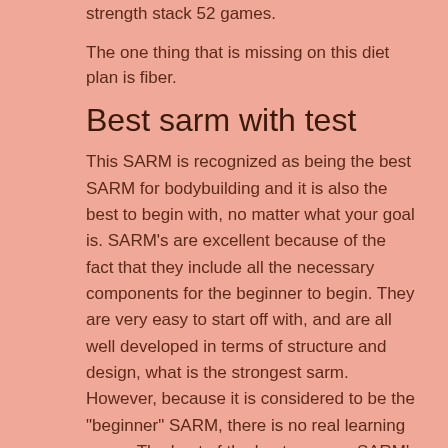strength stack 52 games.
The one thing that is missing on this diet plan is fiber.
Best sarm with test
This SARM is recognized as being the best SARM for bodybuilding and it is also the best to begin with, no matter what your goal is. SARM's are excellent because of the fact that they include all the necessary components for the beginner to begin. They are very easy to start off with, and are all well developed in terms of structure and design, what is the strongest sarm. However, because it is considered to be the "beginner" SARM, there is no real learning curve. The best of the best are now SARM's that we are working with, best sarms company 2021.
This SARM is the result of nearly 20 years of research and application. Although you will